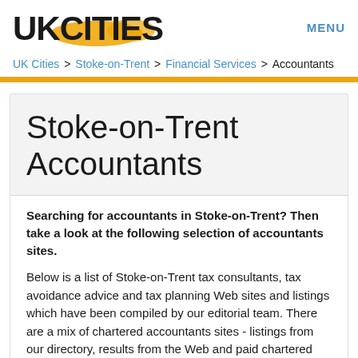UKCITIES  MENU
UK Cities > Stoke-on-Trent > Financial Services > Accountants
Stoke-on-Trent Accountants
Searching for accountants in Stoke-on-Trent? Then take a look at the following selection of accountants sites.
Below is a list of Stoke-on-Trent tax consultants, tax avoidance advice and tax planning Web sites and listings which have been compiled by our editorial team. There are a mix of chartered accountants sites - listings from our directory, results from the Web and paid chartered accountants listings.